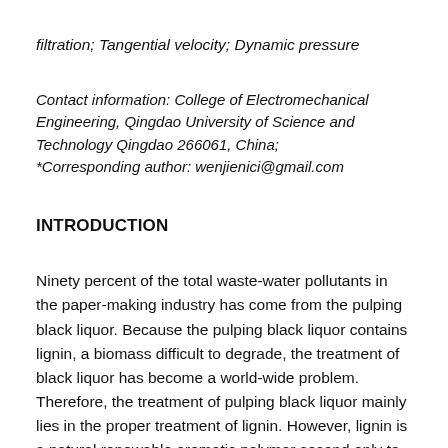filtration; Tangential velocity; Dynamic pressure
Contact information: College of Electromechanical Engineering, Qingdao University of Science and Technology Qingdao 266061, China; *Corresponding author: wenjienici@gmail.com
INTRODUCTION
Ninety percent of the total waste-water pollutants in the paper-making industry has come from the pulping black liquor. Because the pulping black liquor contains lignin, a biomass difficult to degrade, the treatment of black liquor has become a world-wide problem. Therefore, the treatment of pulping black liquor mainly lies in the proper treatment of lignin. However, lignin is a natural renewable aromatic polymer second only to